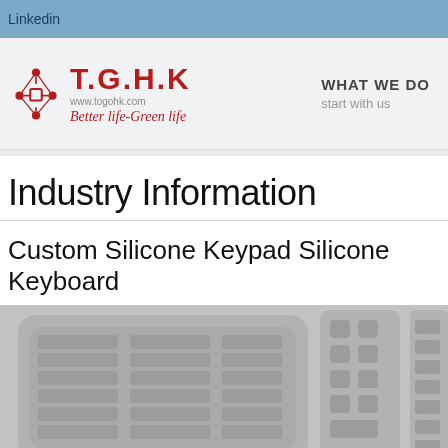Linkedin
[Figure (logo): T.G.H.K logo with circuit-node icon, text 'T.G.H.K', url 'www.togohk.com', tagline 'Better life-Green life']
WHAT WE DO
start with us
Industry Information
Custom Silicone Keypad Silicone Keyboard
[Figure (photo): Grayscale photo of silicone rubber keypads and keyboards]